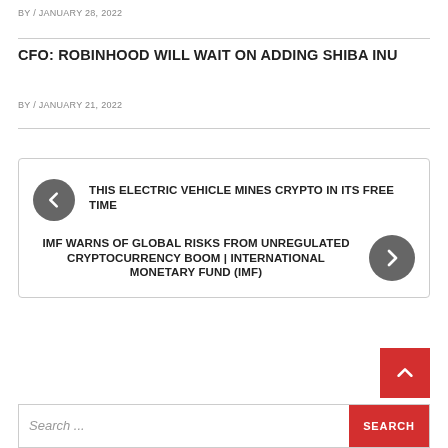BY / JANUARY 28, 2022
CFO: ROBINHOOD WILL WAIT ON ADDING SHIBA INU
BY / JANUARY 21, 2022
THIS ELECTRIC VEHICLE MINES CRYPTO IN ITS FREE TIME
IMF WARNS OF GLOBAL RISKS FROM UNREGULATED CRYPTOCURRENCY BOOM | INTERNATIONAL MONETARY FUND (IMF)
Search ...